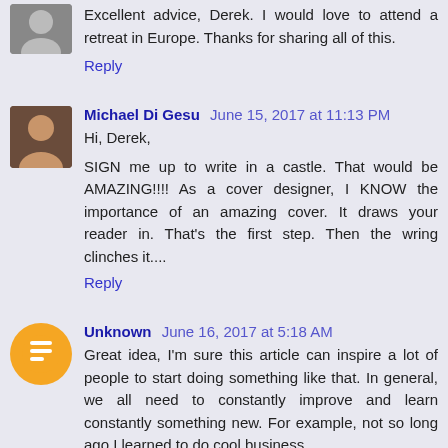Excellent advice, Derek. I would love to attend a retreat in Europe. Thanks for sharing all of this.
Reply
Michael Di Gesu  June 15, 2017 at 11:13 PM
Hi, Derek,
SIGN me up to write in a castle. That would be AMAZING!!!! As a cover designer, I KNOW the importance of an amazing cover. It draws your reader in. That's the first step. Then the wring clinches it....
Reply
Unknown  June 16, 2017 at 5:18 AM
Great idea, I'm sure this article can inspire a lot of people to start doing something like that. In general, we all need to constantly improve and learn constantly something new. For example, not so long ago I learned to do cool business